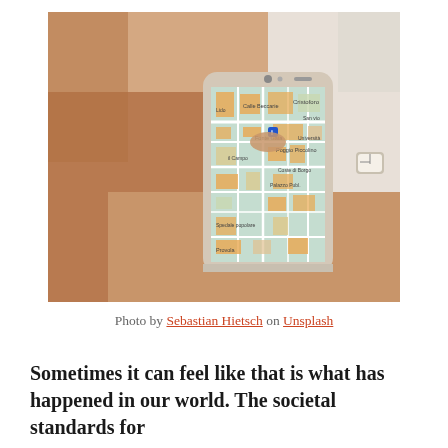[Figure (photo): Two people holding a smartphone showing a map application, with one person pointing at the screen. The phone appears to be a white/gold Huawei device. One person wearing a watch is visible.]
Photo by Sebastian Hietsch on Unsplash
Sometimes it can feel like that is what has happened in our world. The societal standards for